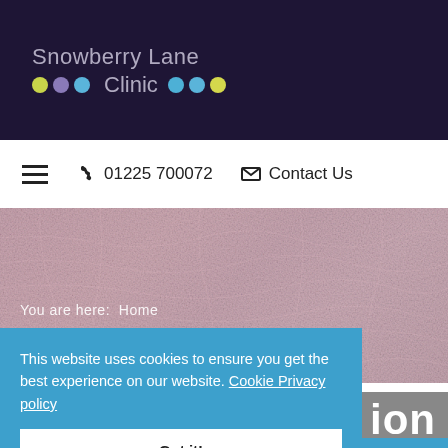[Figure (logo): Snowberry Lane Clinic logo with colored dots on dark purple background]
☰  01225 700072  ✉ Contact Us
[Figure (photo): Close-up photo of human skin texture with pink/mauve tones used as hero banner background]
You are here:  Home
Mole Removal
This website uses cookies to ensure you get the best experience on our website. Cookie Privacy policy
Got it!
[Figure (logo): Partially visible MEDIWEIGHT logo in light blue area at bottom]